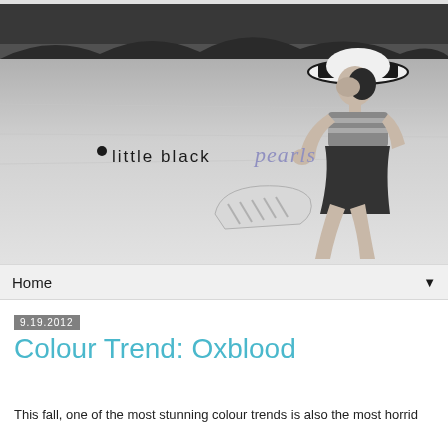[Figure (photo): Black and white banner photo of a woman in a wide-brimmed hat sitting on a beach, with 'little black pearls' blog logo overlaid]
Home ▼
9.19.2012
Colour Trend: Oxblood
This fall, one of the most stunning colour trends is also the most horrid